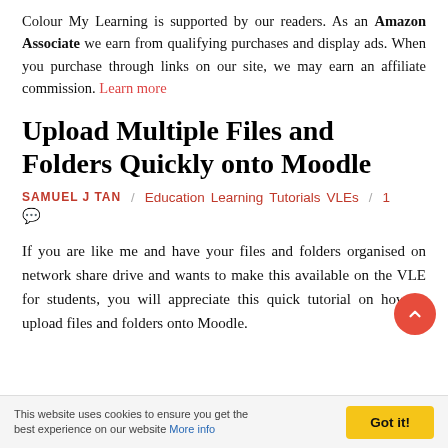Colour My Learning is supported by our readers. As an Amazon Associate we earn from qualifying purchases and display ads. When you purchase through links on our site, we may earn an affiliate commission. Learn more
Upload Multiple Files and Folders Quickly onto Moodle
SAMUEL J TAN / Education Learning Tutorials VLEs / 1 💬
If you are like me and have your files and folders organised on network share drive and wants to make this available on the VLE for students, you will appreciate this quick tutorial on how to upload files and folders onto Moodle.
This website uses cookies to ensure you get the best experience on our website More info